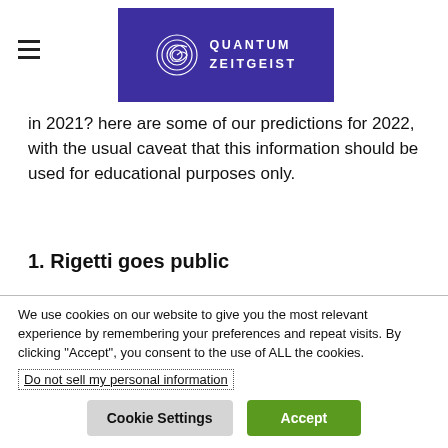QUANTUM ZEITGEIST
in 2021? here are some of our predictions for 2022, with the usual caveat that this information should be used for educational purposes only.
1. Rigetti goes public
As we have seen with IonQ, there is a familiar pattern of getting to the public market via a SPAC. IonQ was the first pure-play quantum company to
We use cookies on our website to give you the most relevant experience by remembering your preferences and repeat visits. By clicking “Accept”, you consent to the use of ALL the cookies.
Do not sell my personal information
Cookie Settings | Accept